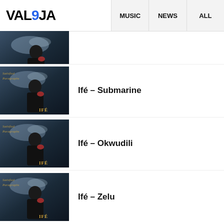VAL9JA  |  MUSIC  |  NEWS  |  ALL
[Figure (photo): Album cover for Ifé – partially visible at top, dark moody photo of person with IFÉ text in gold]
[Figure (photo): Album cover for Ifé – Submarine, dark moody photo of person with IFÉ text in gold, cursive text top-left]
Ifé – Submarine
[Figure (photo): Album cover for Ifé – Okwudili, dark moody photo of person with IFÉ text in gold, cursive text top-left]
Ifé – Okwudili
[Figure (photo): Album cover for Ifé – Zelu, dark moody photo of person with IFÉ text in gold, cursive text top-left]
Ifé – Zelu